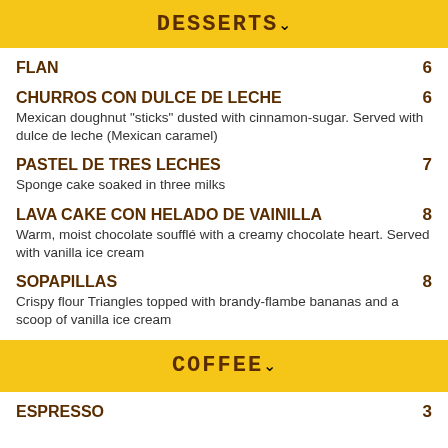DESSERTS
FLAN — 6
CHURROS CON DULCE DE LECHE — 6
Mexican doughnut "sticks" dusted with cinnamon-sugar. Served with dulce de leche (Mexican caramel)
PASTEL DE TRES LECHES — 7
Sponge cake soaked in three milks
LAVA CAKE CON HELADO DE VAINILLA — 8
Warm, moist chocolate soufflé with a creamy chocolate heart. Served with vanilla ice cream
SOPAPILLAS — 8
Crispy flour Triangles topped with brandy-flambe bananas and a scoop of vanilla ice cream
COFFEE
ESPRESSO — 3